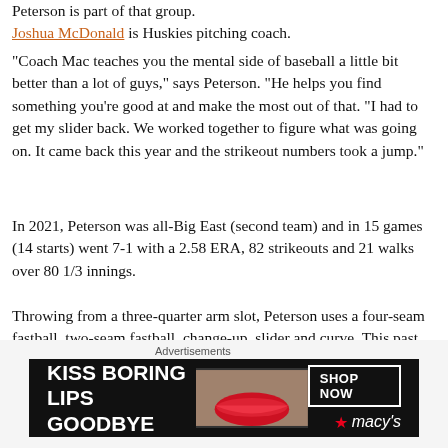Peterson is part of that group.
Joshua McDonald is Huskies pitching coach.
"Coach Mac teaches you the mental side of baseball a little bit better than a lot of guys," says Peterson. "He helps you find something you’re good at and make the most out of that. “I had to get my slider back. We worked together to figure what was going on. It came back this year and the strikeout numbers took a jump.”
In 2021, Peterson was all-Big East (second team) and in 15 games (14 starts) went 7-1 with a 2.58 ERA, 82 strikeouts and 21 walks over 80 1/3 innings.
Throwing from a three-quarter arm slot, Peterson uses a four-seam fastball, two-seam fastball, change-up, slider and curve. This past spring, the four-seamer sat at 90 to 93 mph and touched 94.
The two-seamer “has a little big of late life to it,” says Peterson
Advertisements
[Figure (other): Macy's advertisement banner with text KISS BORING LIPS GOODBYE and SHOP NOW button with Macy's star logo on black background]